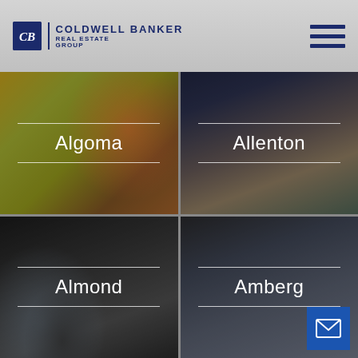[Figure (logo): Coldwell Banker Real Estate Group logo with CB icon, brand name, and tagline]
[Figure (illustration): Hamburger menu icon with three horizontal dark blue lines]
[Figure (photo): Algoma location tile - photo of person with dandelion in sunny park setting, overlaid with white text label 'Algoma']
[Figure (photo): Allenton location tile - photo of house with porch and driveway, dark evening sky, overlaid with white text label 'Allenton']
[Figure (photo): Almond location tile - photo of decorative pillows on couch, dark tones, overlaid with white text label 'Almond']
[Figure (photo): Amberg location tile - photo of American flag on house exterior, overlaid with white text label 'Amberg']